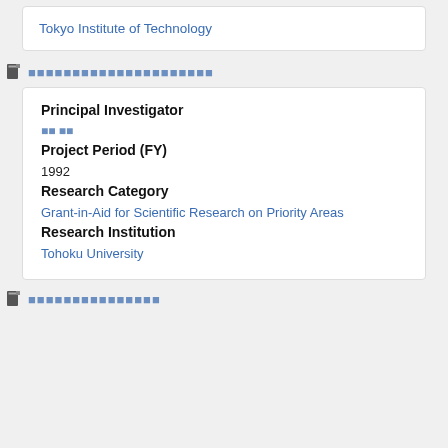Tokyo Institute of Technology
（Japanese section header - document list）
Principal Investigator
（Japanese name - PI name）
Project Period (FY)
1992
Research Category
Grant-in-Aid for Scientific Research on Priority Areas
Research Institution
Tohoku University
（Japanese section header - document list 2）